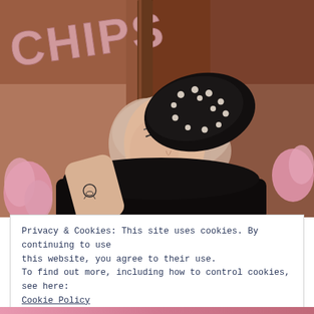[Figure (photo): A woman with blonde/pink hair wearing a black pearl-studded beret, reclining against what appears to be a mirror or wooden frame. Pink fluffy items visible on sides. A 'CHIPS' sign is visible in the background. The woman has a small tattoo on her wrist.]
Privacy & Cookies: This site uses cookies. By continuing to use this website, you agree to their use.
To find out more, including how to control cookies, see here:
Cookie Policy
Close and accept